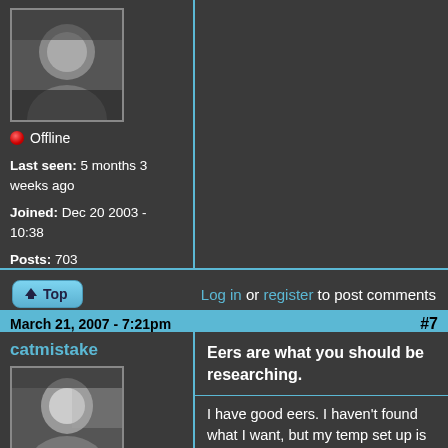[Figure (photo): User avatar photo - grayscale image of a person]
Offline
Last seen: 5 months 3 weeks ago
Joined: Dec 20 2003 - 10:38
Posts: 703
Top
Log in or register to post comments
March 21, 2007 - 7:21pm
#7
catmistake
[Figure (photo): User avatar photo - grayscale image]
Offline
Last seen: 9
Eers are what you should be researching.
I have good eers. I haven't found what I want, but my temp set up is fine... 1/8" connector from OEM heard (sawtooth, 12"DVI or iPod) to